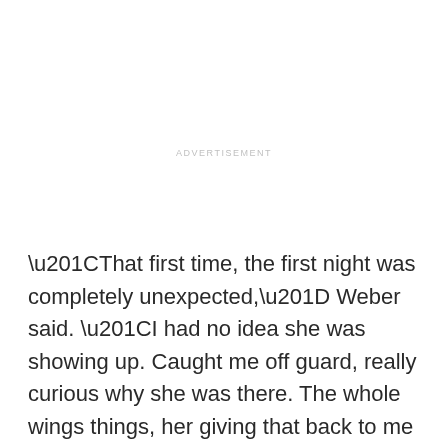ADVERTISEMENT
“That first time, the first night was completely unexpected,” Weber said. “I had no idea she was showing up. Caught me off guard, really curious why she was there. The whole wings things, her giving that back to me I really loved and appreciated.”